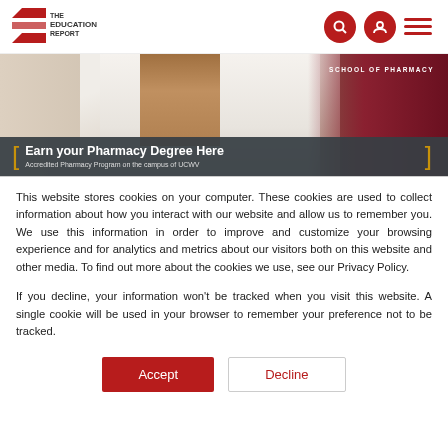THE EDUCATION REPORT
[Figure (photo): Banner image showing a person in a white lab coat (pharmacy student/pharmacist), with text overlay: 'Earn your Pharmacy Degree Here — Accredited Pharmacy Program on the campus of UCWV'. School of Pharmacy label visible top right.]
This website stores cookies on your computer. These cookies are used to collect information about how you interact with our website and allow us to remember you. We use this information in order to improve and customize your browsing experience and for analytics and metrics about our visitors both on this website and other media. To find out more about the cookies we use, see our Privacy Policy.
If you decline, your information won't be tracked when you visit this website. A single cookie will be used in your browser to remember your preference not to be tracked.
Accept    Decline